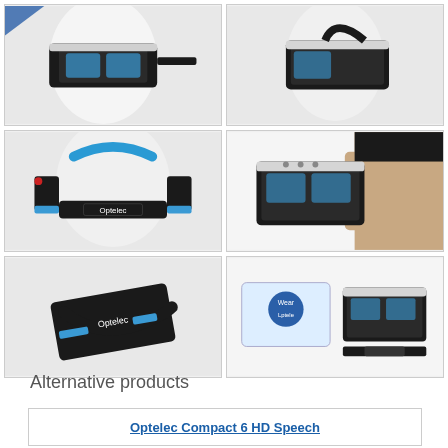[Figure (photo): Grid of 6 product photos showing Optelec wearable VR-style assistive vision headset from various angles: front view on mannequin, side/back view on mannequin, back strap view with Optelec logo, hand holding device, device folded/collapsed, product with packaging box]
Alternative products
Optelec Compact 6 HD Speech